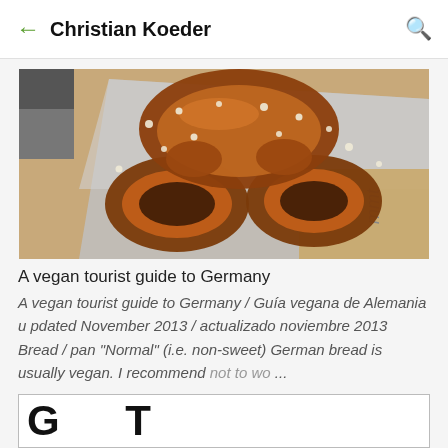← Christian Koeder 🔍
[Figure (photo): A large German pretzel (Brezel) with coarse salt crystals, golden-brown, placed on a paper/plastic wrapper on a wooden surface. Partially visible text on the wrapper.]
A vegan tourist guide to Germany
A vegan tourist guide to Germany / Guía vegana de Alemania u pdated November 2013 / actualizado noviembre 2013 Bread / pan "Normal" (i.e. non-sweet) German bread is usually vegan. I recommend not to wo ...
[Figure (screenshot): Partial view of a second article card with large bold black letters visible at the bottom of the page, cut off.]